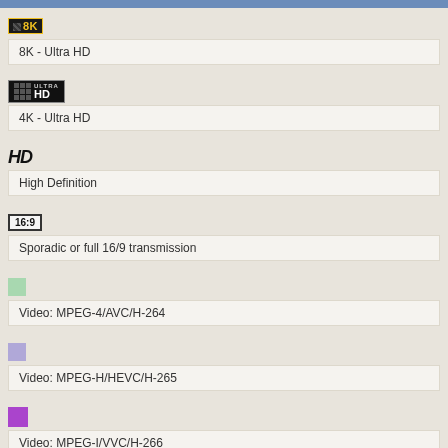8K - Ultra HD
4K - Ultra HD
High Definition
Sporadic or full 16/9 transmission
Video: MPEG-4/AVC/H-264
Video: MPEG-H/HEVC/H-265
Video: MPEG-I/VVC/H-266
Clear